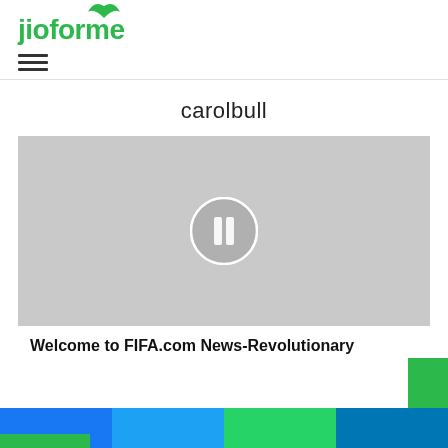jioforme
carolbull
[Figure (screenshot): Video placeholder with gray background and pause button icon in the center]
Welcome to FIFA.com News-Revolutionary